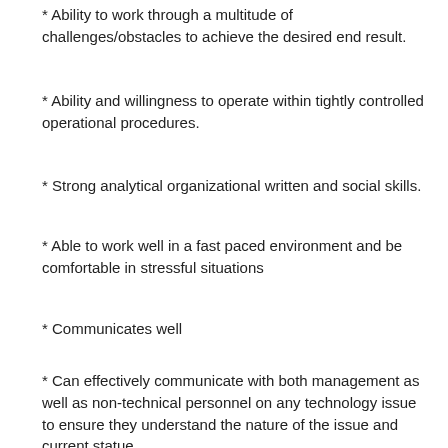* Ability to work through a multitude of challenges/obstacles to achieve the desired end result.
* Ability and willingness to operate within tightly controlled operational procedures.
* Strong analytical organizational written and social skills.
* Able to work well in a fast paced environment and be comfortable in stressful situations
* Communicates well
* Can effectively communicate with both management as well as non-technical personnel on any technology issue to ensure they understand the nature of the issue and current statue